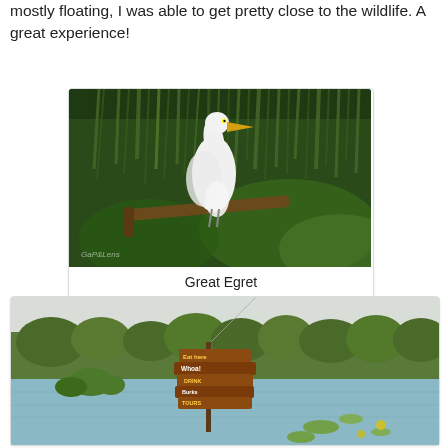mostly floating, I was able to get pretty close to the wildlife. A great experience!
[Figure (photo): A Great Egret perched on a branch with Spanish moss hanging from trees in a bayou/swamp setting]
Great Egret
[Figure (photo): A swamp/lake scene with a wooden sign post in the water, surrounded by water lilies and trees in the background]